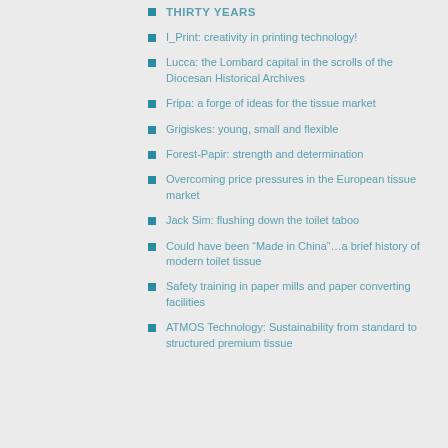THIRTY YEARS
I_Print: creativity in printing technology!
Lucca: the Lombard capital in the scrolls of the Diocesan Historical Archives
Fripa: a forge of ideas for the tissue market
Grigiskes: young, small and flexible
Forest-Papir: strength and determination
Overcoming price pressures in the European tissue market
Jack Sim: flushing down the toilet taboo
Could have been “Made in China”…a brief history of modern toilet tissue
Safety training in paper mills and paper converting facilities
ATMOS Technology: Sustainability from standard to structured premium tissue